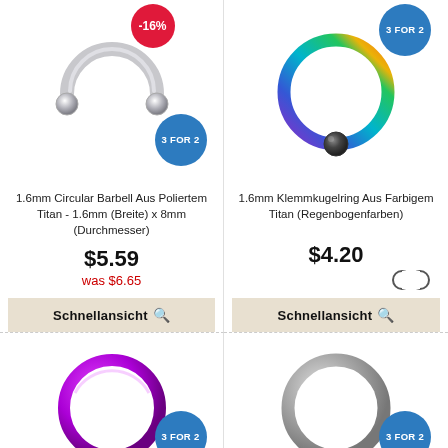[Figure (photo): Silver circular barbell horseshoe ring with two balls, with -16% red badge and 3 FOR 2 blue badge]
1.6mm Circular Barbell Aus Poliertem Titan - 1.6mm (Breite) x 8mm (Durchmesser)
$5.59
was $6.65
Schnellansicht
[Figure (photo): Rainbow/multicolor titanium captive bead ring (BCR) with dark bead, with 3 FOR 2 blue badge]
1.6mm Klemmkugelring Aus Farbigem Titan (Regenbogenfarben)
$4.20
Schnellansicht
[Figure (photo): Purple/magenta circular seamless ring with 3 FOR 2 blue badge]
[Figure (photo): Silver/grey circular seamless ring with 3 FOR 2 blue badge]